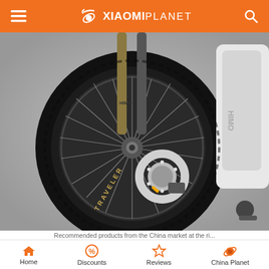XiaomiPlanet
[Figure (photo): Close-up product photo of an electric mountain bike front wheel with black knobby tire (labeled TRAVELER), disc brake, gold/black front suspension fork labeled HIMO, and white frame visible on the right side. Gray background.]
Recommended products from the China market at the right...
Home | Discounts | Reviews | China Planet